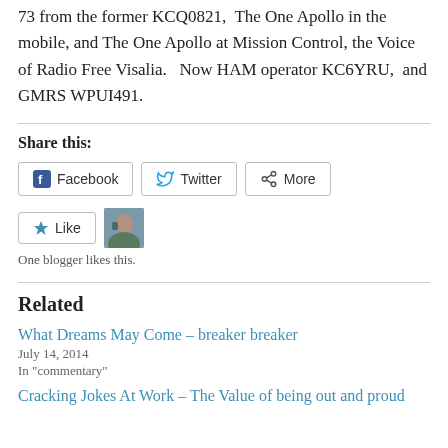73 from the former KCQ0821, The One Apollo in the mobile, and The One Apollo at Mission Control, the Voice of Radio Free Visalia.  Now HAM operator KC6YRU,  and GMRS WPUI491.
Share this:
Facebook  Twitter  More
Like  [avatar image]  One blogger likes this.
Related
What Dreams May Come – breaker breaker
July 14, 2014
In "commentary"
Cracking Jokes At Work – The Value of being out and proud